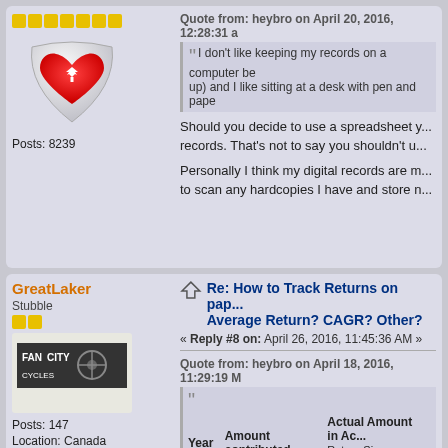[Figure (illustration): Canadian flag heart avatar icon]
Posts: 8239
Quote from: heybro on April 20, 2016, 12:28:31 a
I don't like keeping my records on a computer be... up) and I like sitting at a desk with pen and pape...
Should you decide to use a spreadsheet y... records. That's not to say you shouldn't u...
Personally I think my digital records are m... to scan any hardcopies I have and store n...
GreatLaker
Stubble
[Figure (logo): Fan City Cycles logo image]
Posts: 147
Location: Canada
Re: How to Track Returns on pap... Average Return? CAGR? Other?
« Reply #8 on: April 26, 2016, 11:45:36 AM »
Quote from: heybro on April 18, 2016, 11:29:19 M
| Year | Amount contributed | Actual Amount in Ac... | Return Since Inception |
| --- | --- | --- | --- |
| 2015 | 10,000 | 10,300 |  |
| 2016 | 11,000 | 22,365 |  |
| 2017 | 10,500 | 32207.70 |  |
| 2018 | 9,000 | 45,328.47 |  |
| 2019 | 10,000 | ... |  |